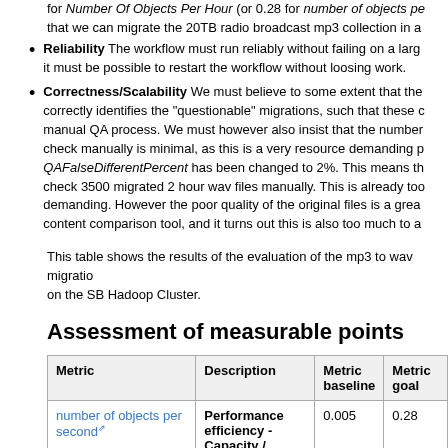for Number Of Objects Per Hour (or 0.28 for number of objects pe... that we can migrate the 20TB radio broadcast mp3 collection in a...
Reliability The workflow must run reliably without failing on a larg... it must be possible to restart the workflow without loosing work.
Correctness/Scalability We must believe to some extent that the... correctly identifies the "questionable" migrations, such that these c... manual QA process. We must however also insist that the number... check manually is minimal, as this is a very resource demanding p... QAFalseDifferentPercent has been changed to 2%. This means th... check 3500 migrated 2 hour wav files manually. This is already too... demanding. However the poor quality of the original files is a grea... content comparison tool, and it turns out this is also too much to a...
This table shows the results of the evaluation of the mp3 to wav migratio... on the SB Hadoop Cluster.
Assessment of measurable points
| Metric | Description | Metric baseline | Metric goal |
| --- | --- | --- | --- |
| number of objects per second | Performance efficiency - Capacity / | 0.005 | 0.28 |